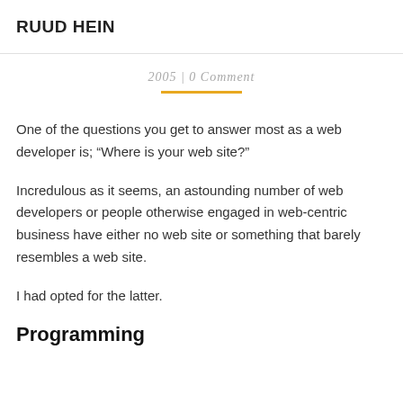RUUD HEIN
2005 | 0 Comment
One of the questions you get to answer most as a web developer is; “Where is your web site?”
Incredulous as it seems, an astounding number of web developers or people otherwise engaged in web-centric business have either no web site or something that barely resembles a web site.
I had opted for the latter.
Programming